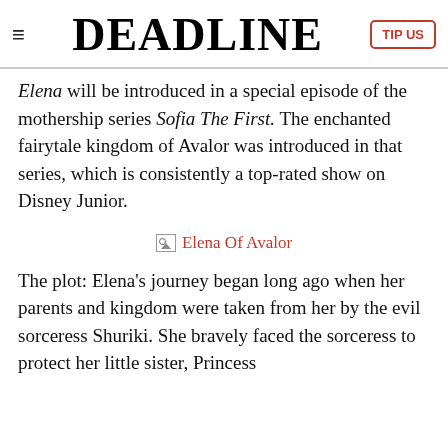DEADLINE
Elena will be introduced in a special episode of the mothership series Sofia The First. The enchanted fairytale kingdom of Avalor was introduced in that series, which is consistently a top-rated show on Disney Junior.
[Figure (photo): Broken image placeholder labeled 'Elena Of Avalor']
The plot: Elena's journey began long ago when her parents and kingdom were taken from her by the evil sorceress Shuriki. She bravely faced the sorceress to protect her little sister, Princess